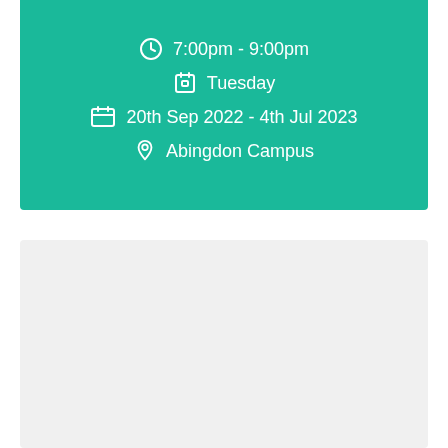7:00pm - 9:00pm | Tuesday | 20th Sep 2022 - 4th Jul 2023 | Abingdon Campus
[Figure (other): Gray placeholder box in the lower portion of the page]